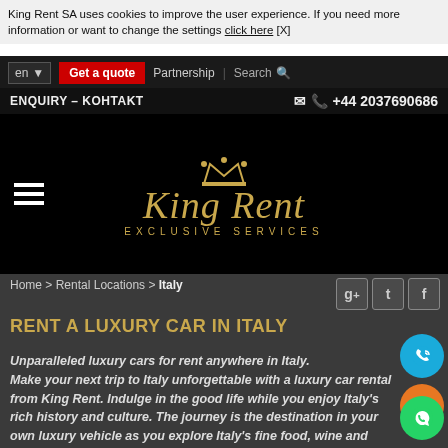King Rent SA uses cookies to improve the user experience. If you need more information or want to change the settings click here [X]
en  Get a quote  Partnership | Search  ENQUIRY – KOHTAKT  +44 2037690686
[Figure (logo): King Rent Exclusive Services logo with golden crown and cursive script on black background]
Home > Rental Locations > Italy
RENT A LUXURY CAR IN ITALY
Unparalleled luxury cars for rent anywhere in Italy. Make your next trip to Italy unforgettable with a luxury car rental from King Rent. Indulge in the good life while you enjoy Italy's rich history and culture. The journey is the destination in your own luxury vehicle as you explore Italy's fine food, wine and historic buildings that date back centuries.